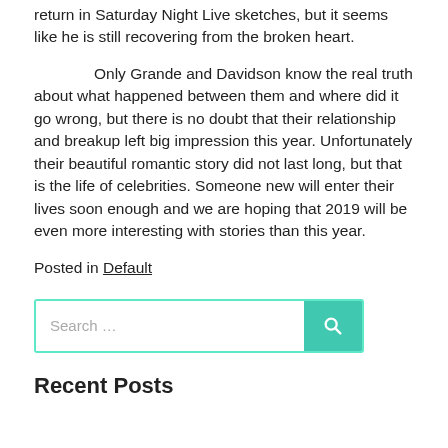return in Saturday Night Live sketches, but it seems like he is still recovering from the broken heart.
Only Grande and Davidson know the real truth about what happened between them and where did it go wrong, but there is no doubt that their relationship and breakup left big impression this year. Unfortunately their beautiful romantic story did not last long, but that is the life of celebrities. Someone new will enter their lives soon enough and we are hoping that 2019 will be even more interesting with stories than this year.
Posted in Default
[Figure (other): Search box with teal border and teal search button containing a magnifying glass icon. Placeholder text: Search …]
Recent Posts